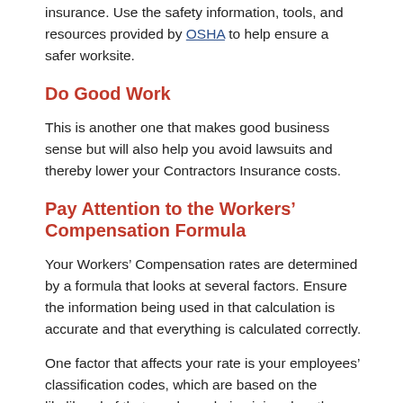insurance. Use the safety information, tools, and resources provided by OSHA to help ensure a safer worksite.
Do Good Work
This is another one that makes good business sense but will also help you avoid lawsuits and thereby lower your Contractors Insurance costs.
Pay Attention to the Workers’ Compensation Formula
Your Workers’ Compensation rates are determined by a formula that looks at several factors. Ensure the information being used in that calculation is accurate and that everything is calculated correctly.
One factor that affects your rate is your employees’ classification codes, which are based on the likelihood of that employee being injured on the job. Make sure that the correct classification codes are given to every employee. For example, an office worker who is less likely to be injured on the job